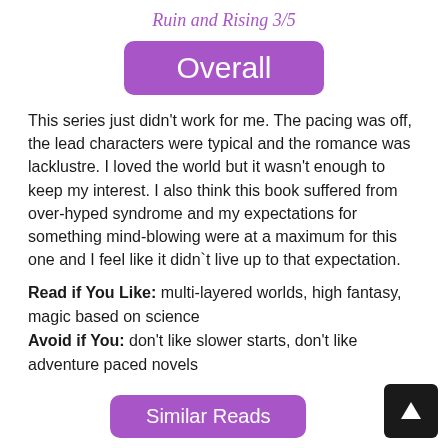Ruin and Rising 3/5
Overall
This series just didn't work for me. The pacing was off, the lead characters were typical and the romance was lacklustre. I loved the world but it wasn't enough to keep my interest. I also think this book suffered from over-hyped syndrome and my expectations for something mind-blowing were at a maximum for this one and I feel like it didn`t live up to that expectation.
Read if You Like: multi-layered worlds, high fantasy, magic based on science
Avoid if You: don't like slower starts, don't like adventure paced novels
Similar Reads